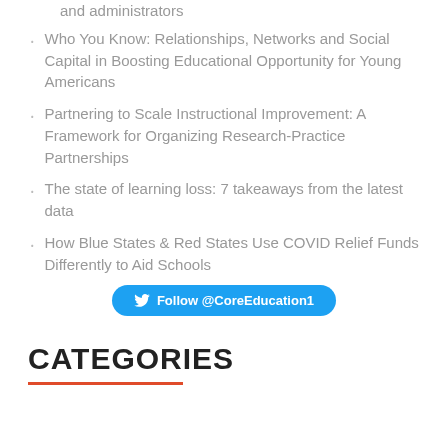and administrators
Who You Know: Relationships, Networks and Social Capital in Boosting Educational Opportunity for Young Americans
Partnering to Scale Instructional Improvement: A Framework for Organizing Research-Practice Partnerships
The state of learning loss: 7 takeaways from the latest data
How Blue States & Red States Use COVID Relief Funds Differently to Aid Schools
Follow @CoreEducation1
CATEGORIES